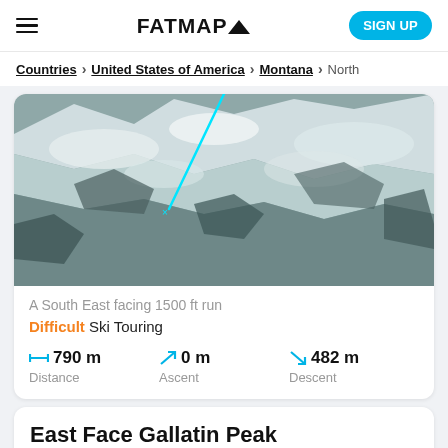FATMAP | SIGN UP
Countries > United States of America > Montana > North
[Figure (photo): Aerial satellite/map view of a snowy mountain terrain with a cyan route line drawn diagonally across the slope]
A South East facing 1500 ft run
Difficult Ski Touring
790 m Distance | 0 m Ascent | 482 m Descent
East Face Gallatin Peak